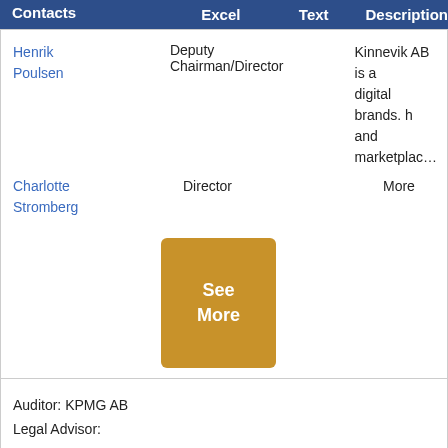| Contacts | Excel | Text | Description |
| --- | --- | --- | --- |
| Henrik Poulsen | Deputy Chairman/Director |  | Kinnevik AB is a digital brands. h and marketplaces More |
| Charlotte Stromberg | Director |  |  |
[Figure (other): Golden 'See More' button]
Auditor: KPMG AB
Legal Advisor:
Financial Details   Compare to Industry Ave
$USD, In whole numbers, except marked * or %